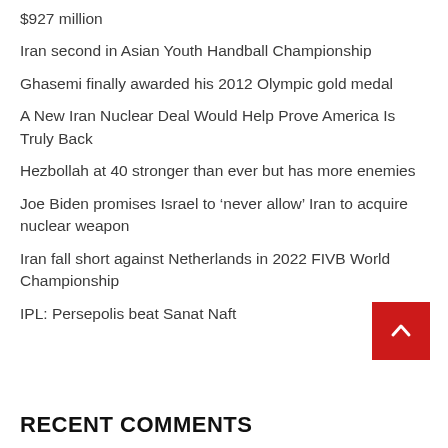$927 million
Iran second in Asian Youth Handball Championship
Ghasemi finally awarded his 2012 Olympic gold medal
A New Iran Nuclear Deal Would Help Prove America Is Truly Back
Hezbollah at 40 stronger than ever but has more enemies
Joe Biden promises Israel to ‘never allow’ Iran to acquire nuclear weapon
Iran fall short against Netherlands in 2022 FIVB World Championship
IPL: Persepolis beat Sanat Naft
RECENT COMMENTS